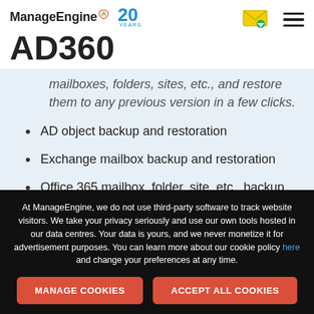ManageEngine AD360
mailboxes, folders, sites, etc., and restore them to any previous version in a few clicks.
AD object backup and restoration
Exchange mailbox backup and restoration
Office 365 mailbox, folder, site, etc., backup and restoration
Incremental backups and backup retention
At ManageEngine, we do not use third-party software to track website visitors. We take your privacy seriously and use our own tools hosted in our data centres. Your data is yours, and we never monetize it for advertisement purposes. You can learn more about our cookie policy here and change your preferences at any time.
MANAGE COOKIES
ACCEPT ALL COOKIES